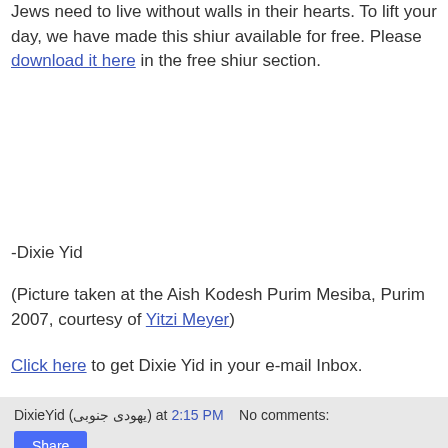Jews need to live without walls in their hearts. To lift your day, we have made this shiur available for free. Please download it here in the free shiur section.
-Dixie Yid
(Picture taken at the Aish Kodesh Purim Mesiba, Purim 2007, courtesy of Yitzi Meyer)
Click here to get Dixie Yid in your e-mail Inbox.
DixieYid (يهودى جنوبى) at 2:15 PM   No comments:
Share
Hashivainu Avinu: Reigniting Our Ratzon to Return to HASHEM